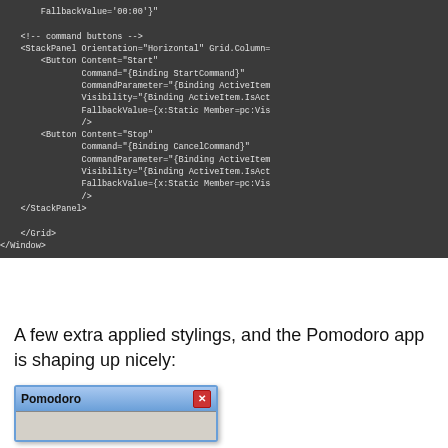[Figure (screenshot): Dark-themed code editor showing XAML markup with StackPanel, Button elements for Start and Stop commands with bindings, closing StackPanel, Grid, and Window tags]
A few extra applied stylings, and the Pomodoro app is shaping up nicely:
[Figure (screenshot): Screenshot of a Pomodoro application window with blue title bar showing 'Pomodoro' text and a red close button]